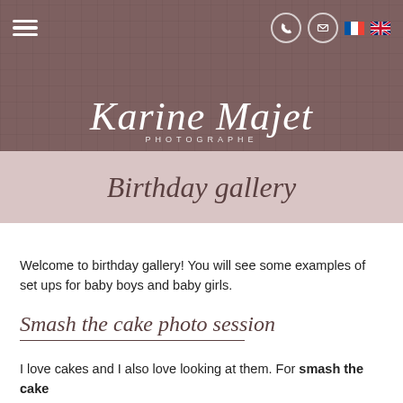[Figure (logo): Karine Majet Photographe website header with dark brownish-red textured background, hamburger menu icon top left, phone and email circle icons top right, French and UK flag icons, and cursive script logo 'Karine Majet PHOTOGRAPHE' centered]
Birthday gallery
Welcome to birthday gallery! You will see some examples of set ups for baby boys and baby girls.
Smash the cake photo session
I love cakes and I also love looking at them. For smash the cake